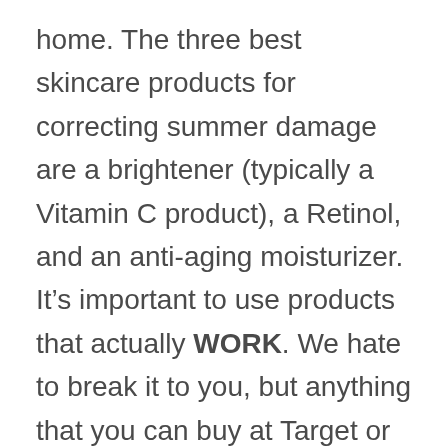home. The three best skincare products for correcting summer damage are a brightener (typically a Vitamin C product), a Retinol, and an anti-aging moisturizer. It’s important to use products that actually WORK. We hate to break it to you, but anything that you can buy at Target or through a friend’s multilevel marketing company ain’t gonna cut it. Any skincare brand that is sold exclusively at doctor’s offices will have clinical data to support the efficacy of its products. (AKA, it really works.) Here are our favorite products for correcting summer damage: